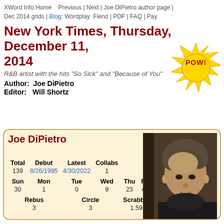XWord Info Home | Previous | Next | Joe DiPietro author page | Dec 2014 grids | Blog: Wordplay Fiend | PDF | FAQ | Pay
New York Times, Thursday, December 11, 2014
R&B artist with the hits "So Sick" and "Because of You"
[Figure (illustration): POW! starburst badge in yellow with red/black text]
Author: Joe DiPietro
Editor: Will Shortz
Joe DiPietro — Total: 139, Debut: 8/26/1995, Latest: 4/30/2022, Collabs: 1, Sun: 30, Mon: 1, Tue: 0, Wed: 9, Thu: 23, Fri: 43, Sat: 30, Variety: 3, Rebus: 3, Circle: 3, Scrabble: 1.59, POW: 1
[Figure (photo): Headshot photo of Joe DiPietro, a middle-aged man with curly grey-brown hair wearing a dark jacket]